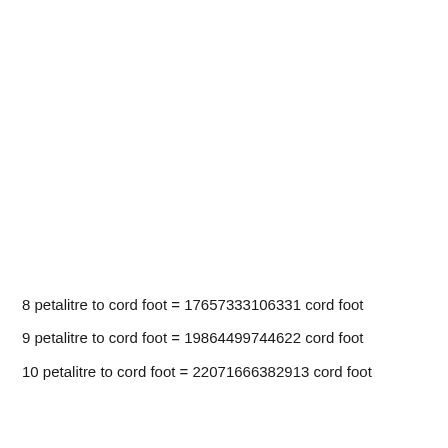8 petalitre to cord foot = 17657333106331 cord foot
9 petalitre to cord foot = 19864499744622 cord foot
10 petalitre to cord foot = 22071666382913 cord foot